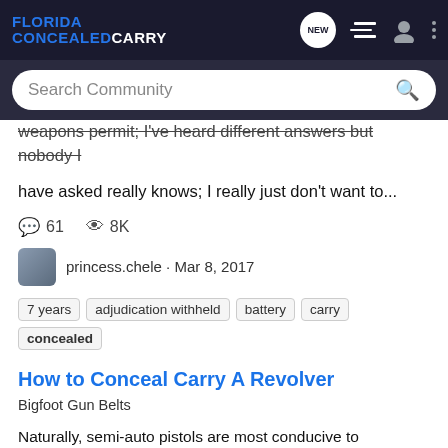FLORIDA CONCEALED CARRY
weapons permit; I've heard different answers but nobody I have asked really knows; I really just don't want to...
61 comments · 8K views
princess.chele · Mar 8, 2017
7 years · adjudication withheld · battery · carry · concealed · felony · license · need answers · please help · resisting arrest
How to Conceal Carry A Revolver
Bigfoot Gun Belts
Naturally, semi-auto pistols are most conducive to concealed carry given their flatter shape, but what about concealed carry revolvers? As it turns out, a lot of people still carry a wheelgun. Not only that, but there are also revolvers to fit